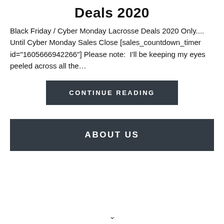Deals 2020
Black Friday / Cyber Monday Lacrosse Deals 2020 Only.... Until Cyber Monday Sales Close [sales_countdown_timer id="1605666942266"] Please note:  I'll be keeping my eyes peeled across all the…
CONTINUE READING
ABOUT US